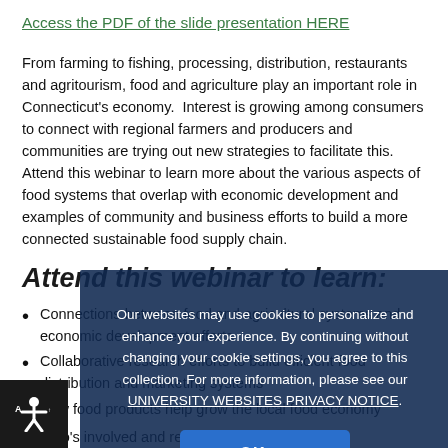Access the PDF of the slide presentation HERE
From farming to fishing, processing, distribution, restaurants and agritourism, food and agriculture play an important role in Connecticut's economy.  Interest is growing among consumers to connect with regional farmers and producers and communities are trying out new strategies to facilitate this. Attend this webinar to learn more about the various aspects of food systems that overlap with economic development and examples of community and business efforts to build a more connected sustainable food supply chain.
Attend this webinar to learn:
Connections between food and agricultural systems and economic development efforts
Collaborative research efforts to build efficient food distribution and marketing systems
How food products help grow the local food economy
Who's involved and resources available for food
Our websites may use cookies to personalize and enhance your experience. By continuing without changing your cookie settings, you agree to this collection. For more information, please see our UNIVERSITY WEBSITES PRIVACY NOTICE.